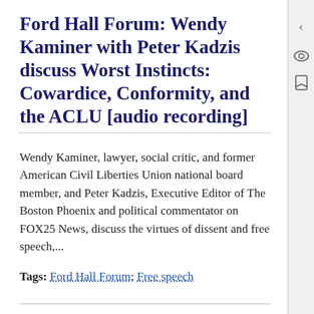Ford Hall Forum: Wendy Kaminer with Peter Kadzis discuss Worst Instincts: Cowardice, Conformity, and the ACLU [audio recording]
Wendy Kaminer, lawyer, social critic, and former American Civil Liberties Union national board member, and Peter Kadzis, Executive Editor of The Boston Phoenix and political commentator on FOX25 News, discuss the virtues of dissent and free speech,...
Tags: Ford Hall Forum; Free speech
Invitation for Second Annual First